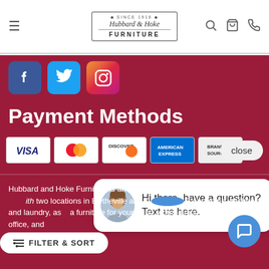Hubbard & Hoke Furniture — navigation header with hamburger menu, logo, search, cart, and phone icons
[Figure (logo): Hubbard & Hoke Furniture logo with 'Since 1916' text in a bordered box]
[Figure (infographic): Social media icons: Facebook (blue), Twitter (light blue), Instagram (gradient)]
Payment Methods
[Figure (infographic): Payment method logos: Visa, Mastercard, Discover, American Express, Brand Source]
[Figure (screenshot): Chat widget bubble: avatar of a woman, text 'Hi there, have a question? Text us here.']
Hubbard and Hoke Furniture is an appliance, electronics, furniture, and with two locations in Blytheville and C R our home, kitchen, and laundry, as a furniture for your living room, dining room, home office, and